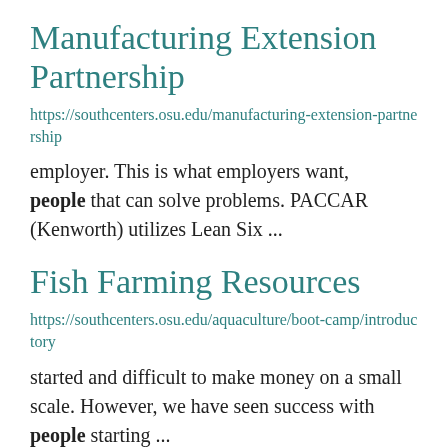Manufacturing Extension Partnership
https://southcenters.osu.edu/manufacturing-extension-partnership
employer. This is what employers want, people that can solve problems. PACCAR (Kenworth) utilizes Lean Six ...
Fish Farming Resources
https://southcenters.osu.edu/aquaculture/boot-camp/introductory
started and difficult to make money on a small scale. However, we have seen success with people starting ...